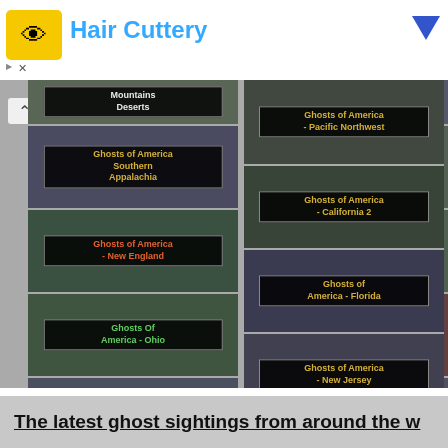[Figure (screenshot): Advertisement banner for Hair Cuttery with yellow scissors icon and blue arrow badge]
[Figure (screenshot): Grid of book covers for 'Ghosts of America' series including Southern Appalachia, New England, Ohio, San Joaquin, Los Angeles Basin California, Pacific Northwest, California 2, Florida, New Jersey, Oregon, Great Plains, California, Deep South, Dallas and Vicinity, Texas, Midwest]
The latest ghost sightings from around the w